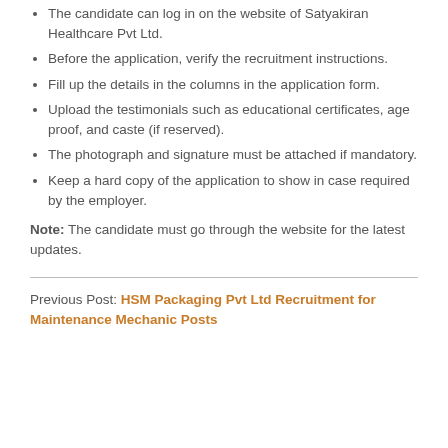The candidate can log in on the website of Satyakiran Healthcare Pvt Ltd.
Before the application, verify the recruitment instructions.
Fill up the details in the columns in the application form.
Upload the testimonials such as educational certificates, age proof, and caste (if reserved).
The photograph and signature must be attached if mandatory.
Keep a hard copy of the application to show in case required by the employer.
Note: The candidate must go through the website for the latest updates.
Previous Post: HSM Packaging Pvt Ltd Recruitment for Maintenance Mechanic Posts